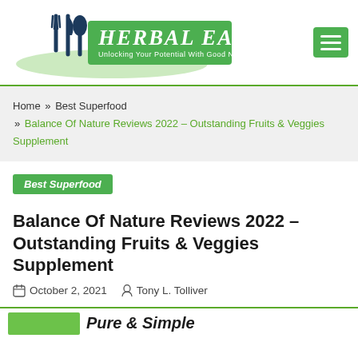[Figure (logo): Herbal Eat website logo with fork, knife, spoon icons and green banner reading HERBAL EAT - Unlocking Your Potential With Good Nutrition, plus hamburger menu icon]
Home » Best Superfood » Balance Of Nature Reviews 2022 – Outstanding Fruits & Veggies Supplement
Best Superfood
Balance Of Nature Reviews 2022 – Outstanding Fruits & Veggies Supplement
October 2, 2021  Tony L. Tolliver
[Figure (screenshot): Partial bottom strip with green image and bold text 'Pure & Simple']